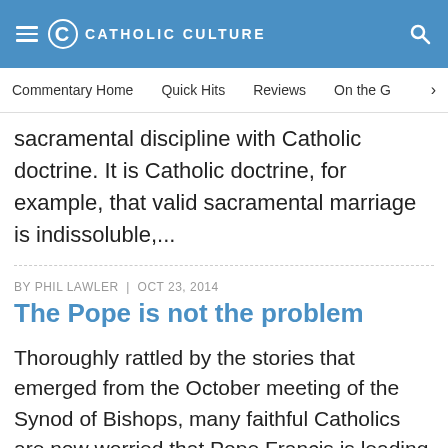CATHOLIC CULTURE
Commentary Home | Quick Hits | Reviews | On the G
sacramental discipline with Catholic doctrine. It is Catholic doctrine, for example, that valid sacramental marriage is indissoluble,...
BY PHIL LAWLER | OCT 23, 2014
The Pope is not the problem
Thoroughly rattled by the stories that emerged from the October meeting of the Synod of Bishops, many faithful Catholics are now worried that Pope Francis is leading the Church in a dangerous direction—and perhaps even doing so intentionally. Their fears are understandable, in light of some…